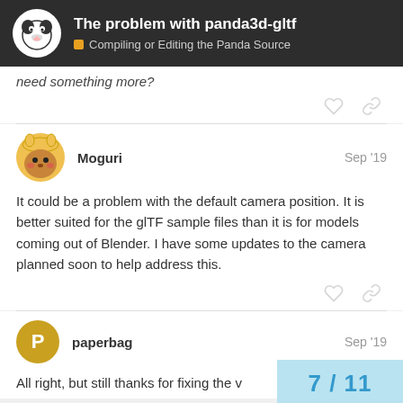The problem with panda3d-gltf — Compiling or Editing the Panda Source
need something more?
Moguri  Sep '19
It could be a problem with the default camera position. It is better suited for the glTF sample files than it is for models coming out of Blender. I have some updates to the camera planned soon to help address this.
paperbag  Sep '19
All right, but still thanks for fixing the v
7 / 11